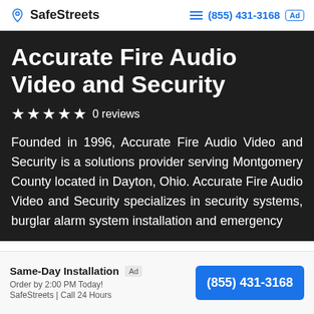SafeStreets  ≡ (855) 431-3168 Ad
Accurate Fire Audio Video and Security
★★★★★ 0 reviews
Founded in 1996, Accurate Fire Audio Video and Security is a solutions provider serving Montgomery County located in Dayton, Ohio. Accurate Fire Audio Video and Security specializes in security systems, burglar alarm system installation and emergency
Same-Day Installation  Ad
Order by 2:00 PM Today!
SafeStreets | Call 24 Hours
(855) 431-3168